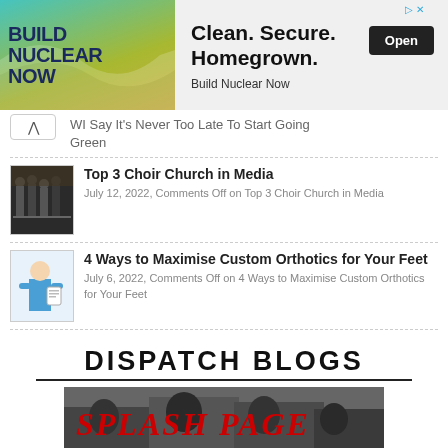[Figure (screenshot): Advertisement banner for Build Nuclear Now. Left side has teal/yellow background with bold dark blue text 'BUILD NUCLEAR NOW'. Right side has gray background with large bold text 'Clean. Secure. Homegrown.' and subtitle 'Build Nuclear Now' plus an Open button.]
WI Say It's Never Too Late To Start Going Green
[Figure (photo): Small thumbnail photo of choir singers in dark robes in a church setting.]
Top 3 Choir Church in Media
July 12, 2022, Comments Off on Top 3 Choir Church in Media
[Figure (photo): Small thumbnail photo of a doctor/medical professional in blue scrubs holding papers.]
4 Ways to Maximise Custom Orthotics for Your Feet
July 6, 2022, Comments Off on 4 Ways to Maximise Custom Orthotics for Your Feet
DISPATCH BLOGS
[Figure (photo): Large banner image with red text 'SPLASH PAGE' overlaid on a black and white sports/action photo collage.]